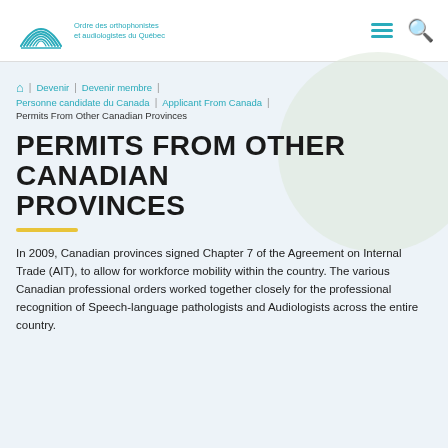Ordre des orthophonistes et audiologistes du Québec
🏠 | Devenir | Devenir membre | Personne candidate du Canada | Applicant From Canada | Permits From Other Canadian Provinces
PERMITS FROM OTHER CANADIAN PROVINCES
In 2009, Canadian provinces signed Chapter 7 of the Agreement on Internal Trade (AIT), to allow for workforce mobility within the country. The various Canadian professional orders worked together closely for the professional recognition of Speech-language pathologists and Audiologists across the entire country.